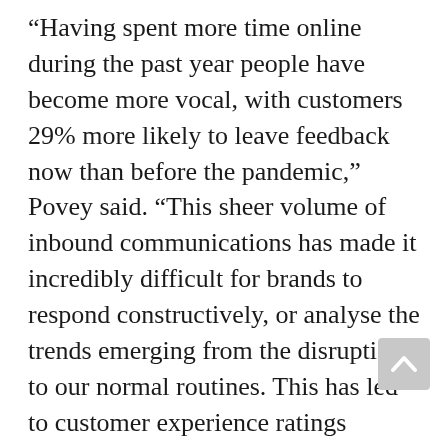“Having spent more time online during the past year people have become more vocal, with customers 29% more likely to leave feedback now than before the pandemic,” Povey said. “This sheer volume of inbound communications has made it incredibly difficult for brands to respond constructively, or analyse the trends emerging from the disruption to our normal routines. This has led to customer experience ratings falling across all sectors, sometimes by as much as 18.5%.
“We’re living through a watershed moment for marketers. Most restrictions on our behaviours are